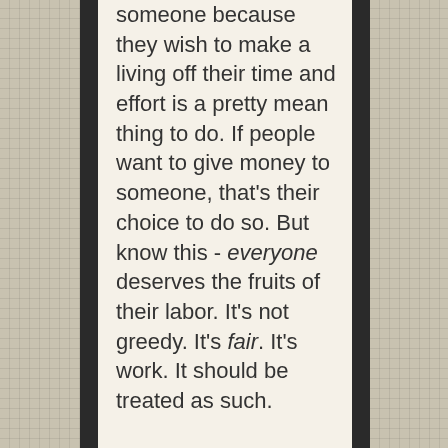someone because they wish to make a living off their time and effort is a pretty mean thing to do. If people want to give money to someone, that's their choice to do so. But know this - everyone deserves the fruits of their labor. It's not greedy. It's fair. It's work. It should be treated as such.

I do want to reiterate one thing though: if you are comfortable to be able to operate personally at a loss and believe your content should be available to